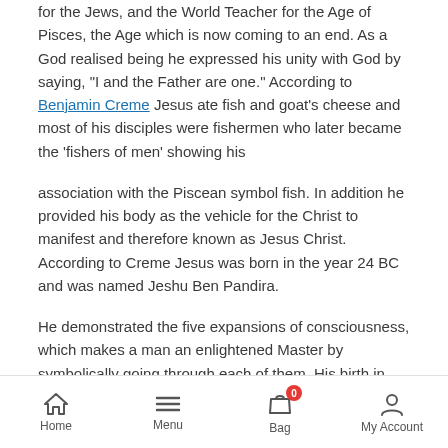for the Jews, and the World Teacher for the Age of Pisces, the Age which is now coming to an end. As a God realised being he expressed his unity with God by saying, "I and the Father are one." According to Benjamin Creme Jesus ate fish and goat's cheese and most of his disciples were fishermen who later became the 'fishers of men' showing his
association with the Piscean symbol fish. In addition he provided his body as the vehicle for the Christ to manifest and therefore known as Jesus Christ. According to Creme Jesus was born in the year 24 BC and was named Jeshu Ben Pandira.
He demonstrated the five expansions of consciousness, which makes a man an enlightened Master by symbolically going through each of them. His birth in Bethlehem symbolised the first
Home  Menu  Bag  My Account